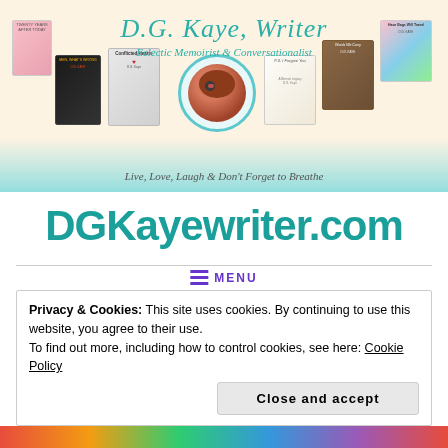[Figure (illustration): D.G. Kaye Writer website banner with book covers, author avatar in teal circle, title text 'D.G. Kaye, Writer - Eclectic Memoirist & Conversationalist' and tagline 'Live, Love, Laugh & Don't Forget to Breathe' on cream and teal background]
DGKayewriter.com
≡ MENU
Privacy & Cookies: This site uses cookies. By continuing to use this website, you agree to their use.
To find out more, including how to control cookies, see here: Cookie Policy
Close and accept
[Figure (illustration): Colorful bottom strip with rainbow-colored text/graphics]